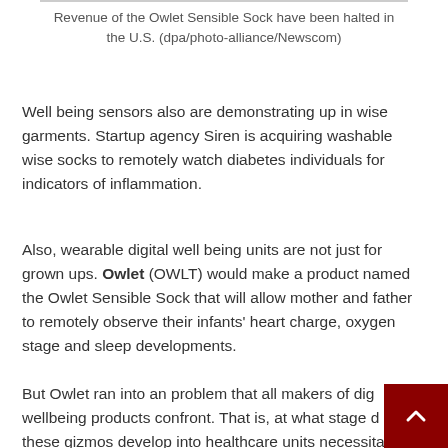Revenue of the Owlet Sensible Sock have been halted in the U.S. (dpa/photo-alliance/Newscom)
Well being sensors also are demonstrating up in wise garments. Startup agency Siren is acquiring washable wise socks to remotely watch diabetes individuals for indicators of inflammation.
Also, wearable digital well being units are not just for grown ups. Owlet (OWLT) would make a product named the Owlet Sensible Sock that will allow mother and father to remotely observe their infants' heart charge, oxygen stage and sleep developments.
But Owlet ran into an problem that all makers of digital wellbeing products confront. That is, at what stage do these gizmos develop into healthcare units necessitating